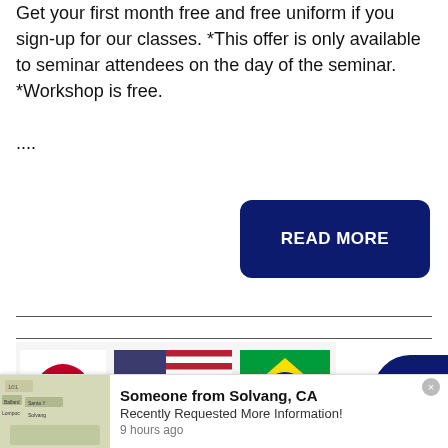Get your first month free and free uniform if you sign-up for our classes. *This offer is only available to seminar attendees on the day of the seminar. *Workshop is free.

....
[Figure (other): Dark navy blue READ MORE button with rounded corners and white bold text]
[Figure (photo): Row of three flags: Japan (red circle on white), United States (stars and stripes), Brazil (green with yellow diamond)]
[Figure (other): Dark navy blue circular phone/call button on the right edge]
Someone from Solvang, CA
Recently Requested More Information!
9 hours ago